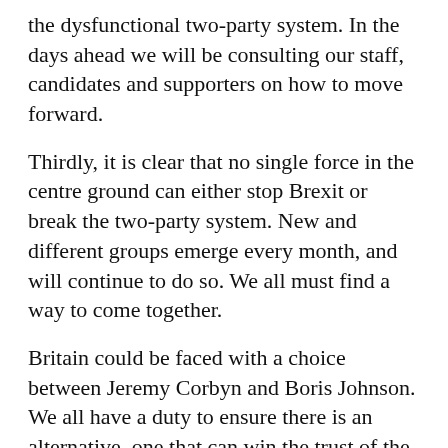the dysfunctional two-party system. In the days ahead we will be consulting our staff, candidates and supporters on how to move forward.
Thirdly, it is clear that no single force in the centre ground can either stop Brexit or break the two-party system. New and different groups emerge every month, and will continue to do so. We all must find a way to come together.
Britain could be faced with a choice between Jeremy Corbyn and Boris Johnson. We all have a duty to ensure there is an alternative, one that can win the trust of the British people and put us back on the right course. This, I hope, is a cause we can all unite around to change politics and Britain for the better.